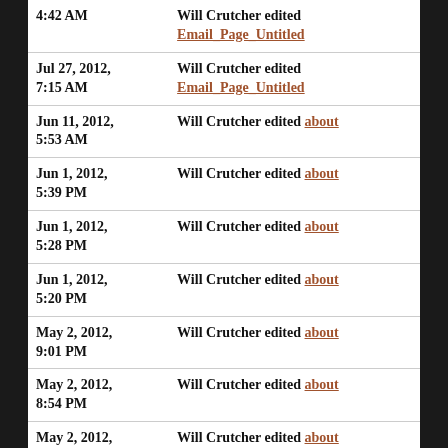| Date | Action |
| --- | --- |
| 4:42 AM | Will Crutcher edited Email_Page_Untitled |
| Jul 27, 2012, 7:15 AM | Will Crutcher edited Email_Page_Untitled |
| Jun 11, 2012, 5:53 AM | Will Crutcher edited about |
| Jun 1, 2012, 5:39 PM | Will Crutcher edited about |
| Jun 1, 2012, 5:28 PM | Will Crutcher edited about |
| Jun 1, 2012, 5:20 PM | Will Crutcher edited about |
| May 2, 2012, 9:01 PM | Will Crutcher edited about |
| May 2, 2012, 8:54 PM | Will Crutcher edited about |
| May 2, 2012, 8:50 PM | Will Crutcher edited about |
| May 2, 2012, 8:49 PM | Will Crutcher edited about |
| May 2, 2012, 8:47 PM | Will Crutcher edited about |
| May 2, 2012, | Will Crutcher edited about |